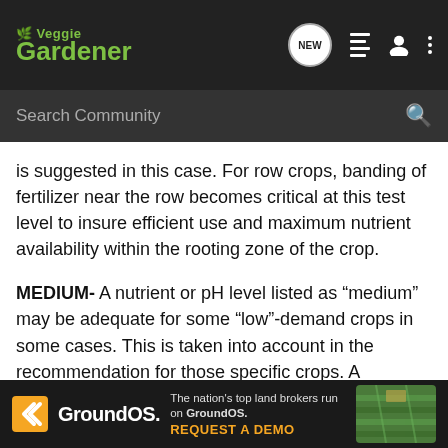Veggie Gardener
is suggested in this case. For row crops, banding of fertilizer near the row becomes critical at this test level to insure efficient use and maximum nutrient availability within the rooting zone of the crop.
MEDIUM- A nutrient or pH level listed as "medium" may be adequate for some "low"-demand crops in some cases. This is taken into account in the recommendation for those specific crops. A "medium" level may limit plant growth or yield by the end of the growing season in years of very good growing conditions. There can be many soil types in which a nutrient testing "medium" may not be adequate for meeting crop nutrient requirements. Corrective fertilizing or liming is usually recommended to increase in soil le... ...ort
[Figure (screenshot): GroundOS advertisement banner with logo and 'REQUEST A DEMO' call to action]